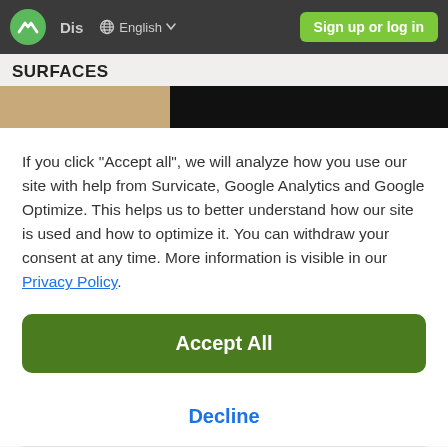[Figure (screenshot): Navigation bar with logo, Dis label, globe/English language selector with dropdown arrow, and green Sign up or log in button]
SURFACES
[Figure (photo): Horizontal image strip, left portion is tan/sandy color, right portion is solid black (redacted)]
If you click "Accept all", we will analyze how you use our site with help from Survicate, Google Analytics and Google Optimize. This helps us to better understand how our site is used and how to optimize it. You can withdraw your consent at any time. More information is visible in our Privacy Policy.
Accept All
Decline
Details